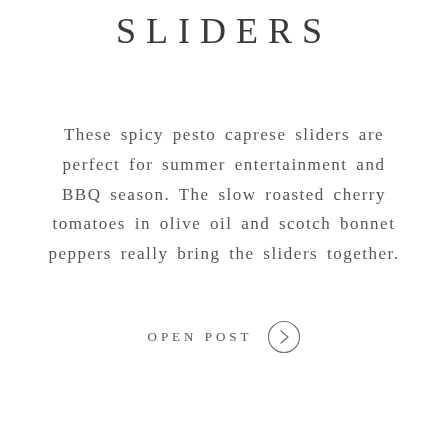SLIDERS
These spicy pesto caprese sliders are perfect for summer entertainment and BBQ season. The slow roasted cherry tomatoes in olive oil and scotch bonnet peppers really bring the sliders together.
OPEN POST